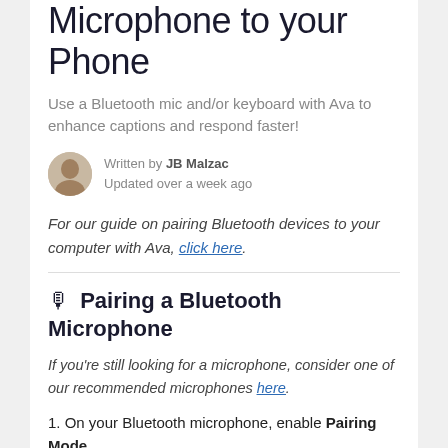Microphone to your Phone
Use a Bluetooth mic and/or keyboard with Ava to enhance captions and respond faster!
Written by JB Malzac
Updated over a week ago
For our guide on pairing Bluetooth devices to your computer with Ava, click here.
🎙 Pairing a Bluetooth Microphone
If you're still looking for a microphone, consider one of our recommended microphones here.
1. On your Bluetooth microphone, enable Pairing Mode